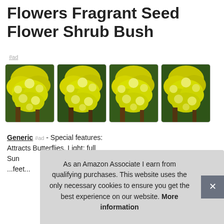Flowers Fragrant Seed Flower Shrub Bush
#ad
[Figure (photo): Four identical thumbnail images of a yellow flowering shrub/bush with dense clusters of small yellow flowers against green foliage. Each image is shown in a rounded-corner card border.]
Generic #ad - Special features: Attracts Butterflies. Light: full Sun... feet...
As an Amazon Associate I earn from qualifying purchases. This website uses the only necessary cookies to ensure you get the best experience on our website. More information